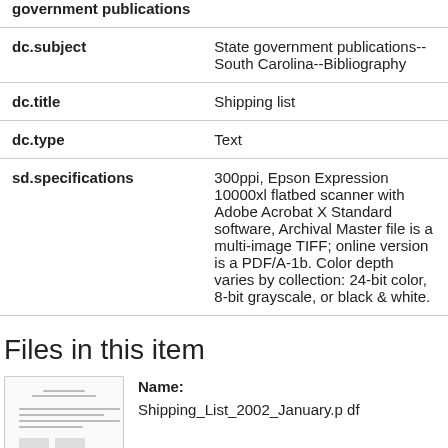| Field | Value |
| --- | --- |
| dc.subject | State government publications--South Carolina--Bibliography |
| dc.title | Shipping list |
| dc.type | Text |
| sd.specifications | 300ppi, Epson Expression 10000xl flatbed scanner with Adobe Acrobat X Standard software, Archival Master file is a multi-image TIFF; online version is a PDF/A-1b. Color depth varies by collection: 24-bit color, 8-bit grayscale, or black & white. |
Files in this item
[Figure (other): Thumbnail preview of Shipping_List_2002_January.pdf document]
Name: Shipping_List_2002_January.pdf